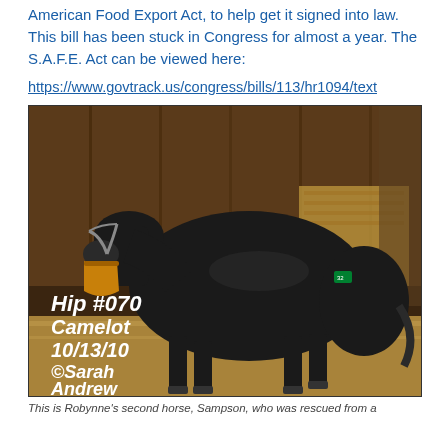American Food Export Act, to help get it signed into law. This bill has been stuck in Congress for almost a year. The S.A.F.E. Act can be viewed here:
https://www.govtrack.us/congress/bills/113/hr1094/text
[Figure (photo): A black horse labeled Hip #070 Camelot 10/13/10 ©Sarah Andrew, photographed in a barn eating from a bucket]
This is Robynne's second horse, Sampson, who was rescued from a